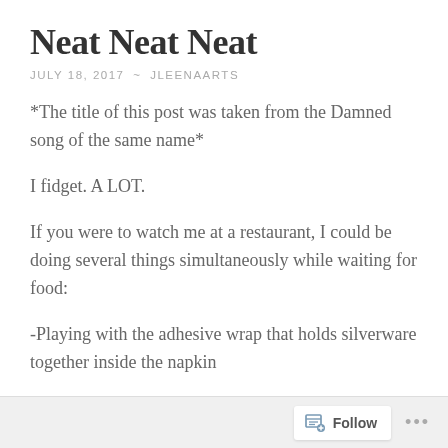Neat Neat Neat
JULY 18, 2017  ~  JLEENAARTS
*The title of this post was taken from the Damned song of the same name*
I fidget. A LOT.
If you were to watch me at a restaurant, I could be doing several things simultaneously while waiting for food:
-Playing with the adhesive wrap that holds silverware together inside the napkin
Follow ...